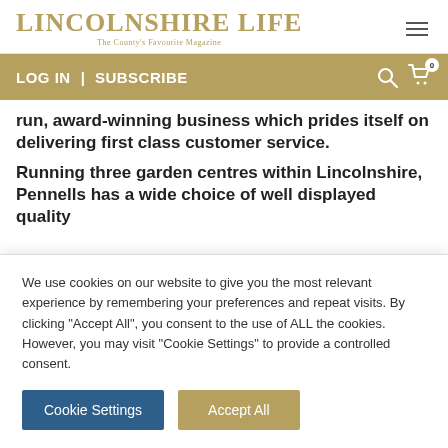LINCOLNSHIRE LIFE — The County's Favourite Magazine
LOG IN  |  SUBSCRIBE
run, award-winning business which prides itself on delivering first class customer service.
Running three garden centres within Lincolnshire, Pennells has a wide choice of well displayed quality
We use cookies on our website to give you the most relevant experience by remembering your preferences and repeat visits. By clicking "Accept All", you consent to the use of ALL the cookies. However, you may visit "Cookie Settings" to provide a controlled consent.